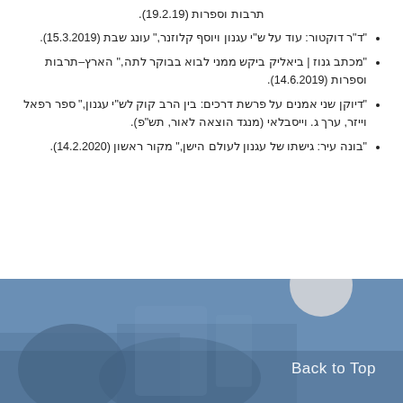תרבות וספרות (19.2.19).
"ד"ר דוקטור: עוד על ש"י עגנון ויוסף קלוזנר," עונג שבת (15.3.2019).
"מכתב גנוז | ביאליק ביקש ממני לבוא בבוקר לתה," הארץ–תרבות וספרות (14.6.2019).
"דיוקן שני אמנים על פרשת דרכים: בין הרב קוק לש"י עגנון," ספר רפאל וייזר, ערך ג. וייסבלאי (מנגד הוצאה לאור, תש"פ).
"בונה עיר: גישתו של עגנון לעולם הישן," מקור ראשון (14.2.2020).
[Figure (photo): Footer background photo showing blurred figures in a blue-tinted room, with a 'Back to Top' button in the bottom right corner and a grey circle above it.]